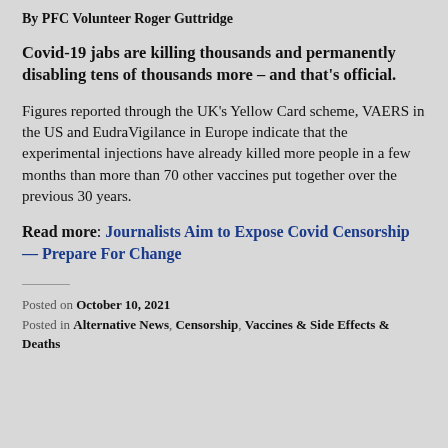By PFC Volunteer Roger Guttridge
Covid-19 jabs are killing thousands and permanently disabling tens of thousands more – and that's official.
Figures reported through the UK's Yellow Card scheme, VAERS in the US and EudraVigilance in Europe indicate that the experimental injections have already killed more people in a few months than more than 70 other vaccines put together over the previous 30 years.
Read more: Journalists Aim to Expose Covid Censorship — Prepare For Change
Posted on October 10, 2021
Posted in Alternative News, Censorship, Vaccines & Side Effects & Deaths